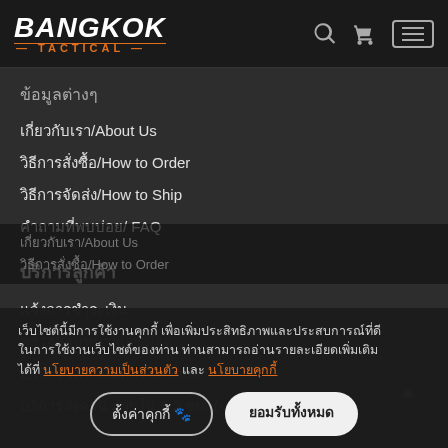BANGKOK TACTICAL
ข้อมูลต่างๆ
เกี่ยวกับเรา/About Us
วิธีการสั่งซื้อ/How to Order
วิธีการจัดส่ง/How to Ship
คำถามที่พบบ่อย/ FAQ
บริการลูกค้า
แจ้งการชำระเงิน
ตรวจสอบหมายเลขพัสดุ
บริหารจัดหาสินค้า Pre-order
บริการส่งด่วน ภายใน 1-3 ชม. (กทม)
เว็บไซต์นี้มีการใช้งานคุกกี้ เพื่อเพิ่มประสิทธิภาพและประสบการณ์ที่ดีในการใช้งานเว็บไซต์ของท่าน ท่านสามารถอ่านรายละเอียดเพิ่มเติมได้ที่ นโยบายความเป็นส่วนตัว และ นโยบายคุกกี้
ตั้งค่าคุกกี้
ยอมรับทั้งหมด